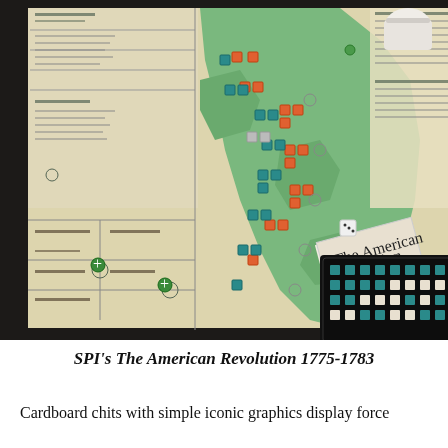[Figure (photo): Photograph of SPI's The American Revolution 1775-1783 board game, showing a map board with green and beige territories along the Eastern Seaboard, colored cardboard chits (teal/blue and orange) placed on the map, a game rulebook/manual visible in the upper right, a dice cup, dice, and a box containing game components on a dark table.]
SPI's The American Revolution 1775-1783
Cardboard chits with simple iconic graphics display force